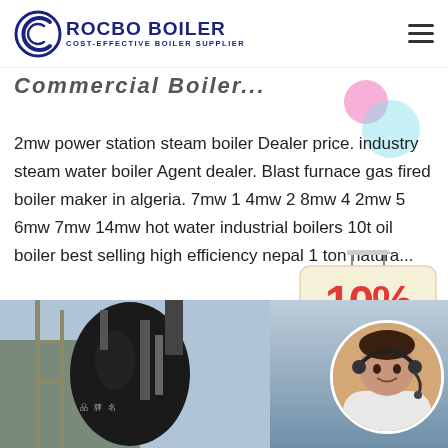[Figure (logo): Rocbo Boiler logo with circular icon and text 'ROCBO BOILER COST-EFFECTIVE BOILER SUPPLIER']
Commercial Boiler...
2mw power station steam boiler Dealer price. industry steam water boiler Agent dealer. Blast furnace gas fired boiler maker in algeria. 7mw 1 4mw 2 8mw 4 2mw 5 6mw 7mw 14mw hot water industrial boilers 10t oil boiler best selling high efficiency nepal 1 ton natura...
[Figure (other): Green 'Get Price' button]
[Figure (infographic): 10% Discount promotional badge in red and blue on cream background with hanger design]
[Figure (photo): Industrial boiler installation photo showing large cylindrical boiler with pipes and scaffolding, alongside customer service representative in circular frame]